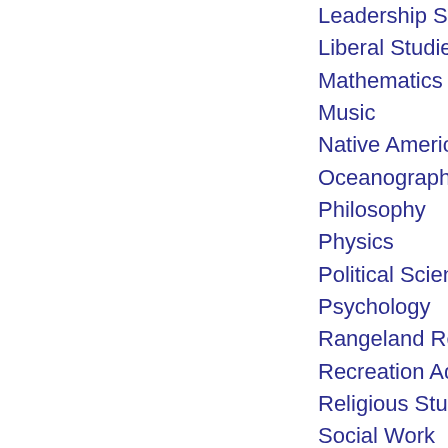Leadership Studies
Liberal Studies/Eleme…
Mathematics
Music
Native American Studi…
Oceanography
Philosophy
Physics
Political Science
Psychology
Rangeland Resource S…
Recreation Administra…
Religious Studies
Social Work
Sociology
Spanish
Theatre Arts
Wildlife
Zoology
Специальности Маст…
Applied Anthropology
Biology
Business Administratio…